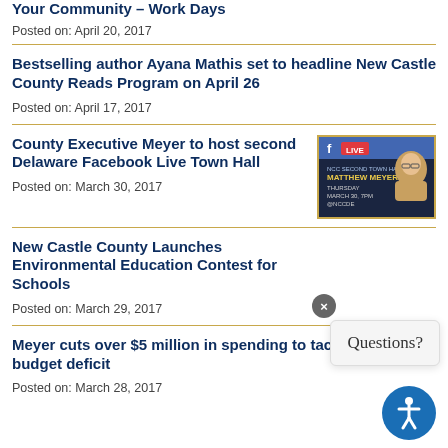Your Community – Work Days
Posted on: April 20, 2017
Bestselling author Ayana Mathis set to headline New Castle County Reads Program on April 26
Posted on: April 17, 2017
County Executive Meyer to host second Delaware Facebook Live Town Hall
[Figure (photo): Facebook Live event promotional image for County Executive Matthew Meyer Town Hall, Thursday March 30, 7PM, NCCDE]
Posted on: March 30, 2017
New Castle County Launches Environmental Education Contest for Schools
Posted on: March 29, 2017
Meyer cuts over $5 million in spending to tackle budget deficit
Posted on: March 28, 2017